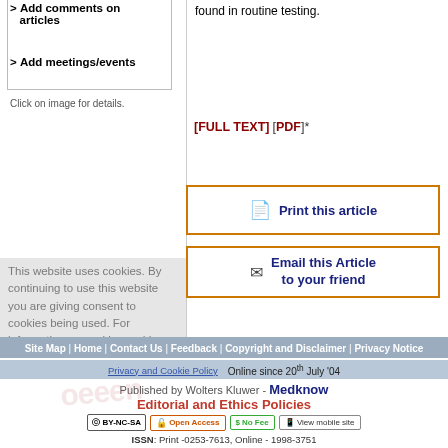> Add comments on articles
> Add meetings/events
Click on image for details.
found in routine testing.
[FULL TEXT] [PDF]*
Print this article
Email this Article to your friend
This website uses cookies. By continuing to use this website you are giving consent to cookies being used. For information on cookies and how
Site Map | Home | Contact Us | Feedback | Copyright and Disclaimer | Privacy Notice
Online since 20th July '04
Published by Wolters Kluwer - Medknow
Editorial and Ethics Policies
ISSN: Print -0253-7613, Online - 1998-3751